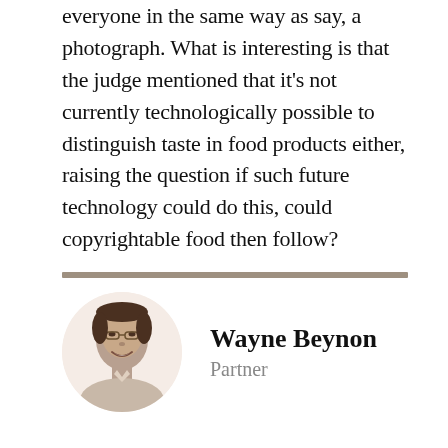everyone in the same way as say, a photograph. What is interesting is that the judge mentioned that it's not currently technologically possible to distinguish taste in food products either, raising the question if such future technology could do this, could copyrightable food then follow?
[Figure (photo): Circular portrait photo of Wayne Beynon, a man smiling, wearing a collared shirt, in grayscale with a light pinkish-beige circular background]
Wayne Beynon
Partner